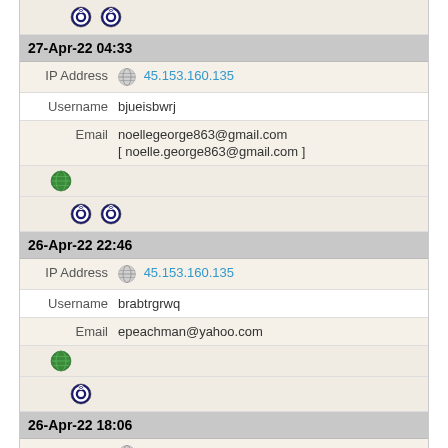[Figure (infographic): Two Tor browser icons side by side on beige background]
27-Apr-22 04:33
IP Address  45.153.160.135
Username  bjueisbwrj
Email  noellegeorge863@gmail.com  [ noelle.george863@gmail.com ]
[Figure (infographic): Globe icon]
[Figure (infographic): Two Tor browser icons side by side on beige background]
26-Apr-22 22:46
IP Address  45.153.160.135
Username  brabtrgrwq
Email  epeachman@yahoo.com
[Figure (infographic): Globe icon]
[Figure (infographic): One Tor browser icon on beige background]
26-Apr-22 18:06
IP Address  45.153.160.135
Username  maryhg18